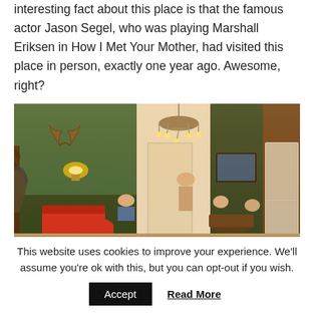interesting fact about this place is that the famous actor Jason Segel, who was playing Marshall Eriksen in How I Met Your Mother, had visited this place in person, exactly one year ago. Awesome, right?
[Figure (photo): Interior of a cozy bar/cafe with green walls, a chandelier, red seating, and people dining. Warm ambient lighting from wall sconces.]
This website uses cookies to improve your experience. We'll assume you're ok with this, but you can opt-out if you wish.